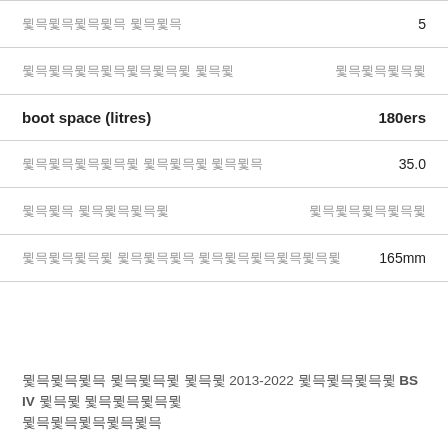| Feature | Value |
| --- | --- |
| [Tamil] [Tamil] | 5 |
| [Tamil] [Tamil] | [Tamil] |
| boot space (litres) | 180ers |
| [Tamil] [Tamil] [Tamil] | 35.0 |
| [Tamil] [Tamil] | [Tamil] |
| [Tamil] [Tamil] [Tamil] | 165mm |
[Tamil] [Tamil] [Tamil] 2013-2022 [Tamil] BS IV [Tamil] [Tamil] [Tamil]